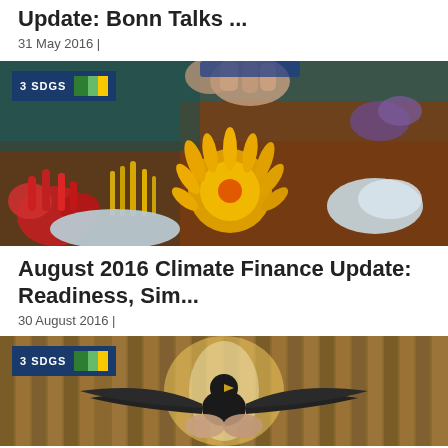Update: Bonn Talks ...
31 May 2016 |
[Figure (photo): Underwater coral reef scene with colorful sea anemones, corals in red, yellow, and blue-white tones, with hands visible at top. Badge reading '3 SDGS' with green and yellow color bars overlaid on top-left.]
August 2016 Climate Finance Update: Readiness, Sim...
30 August 2016 |
[Figure (photo): Person holding a bird with wings spread wide against a wooden slat background (warm brown tones). Badge reading '3 SDGS' with green and yellow color bars overlaid on top-left.]